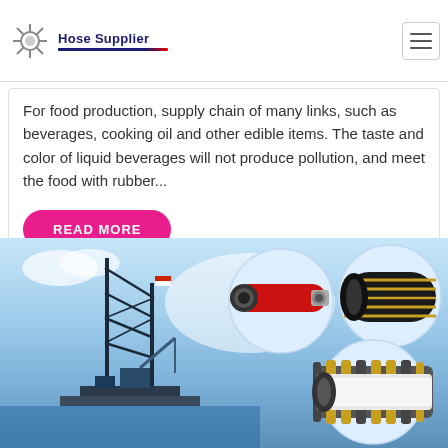Hose Supplier
For food production, supply chain of many links, such as beverages, cooking oil and other edible items. The taste and color of liquid beverages will not produce pollution, and meet the food with rubber...
READ MORE
[Figure (photo): Oil rig / offshore platform with industrial hose products shown in circular insets: red hydraulic hose, black spiral hose, and large corrugated suction hose]
[Figure (illustration): Blue chat/messaging widget icon with speech bubble, with X close button]